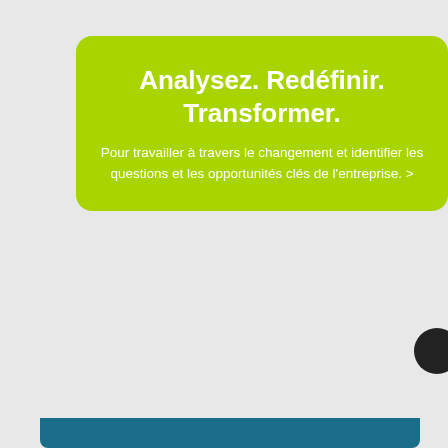Analysez. Redéfinir. Transformer.
Pour travailler à travers le changement et identifier les questions et les opportunités clés de l'entreprise. >
This website uses cookies. By clicking Accept, you agree to the storing of cookies on your device to enhance site navigation, analyze site usage and assist in our marketing efforts.
Find out more   Accept